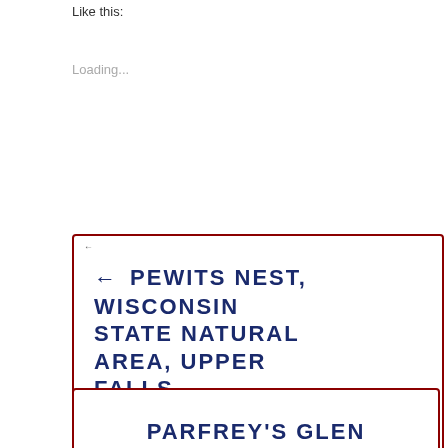Like this:
Loading...
← PEWITS NEST, WISCONSIN STATE NATURAL AREA, UPPER FALLS
PARFREY'S GLEN STATE NATURAL AREA WATERFALL, MERRIMAC, WISCONSIN →